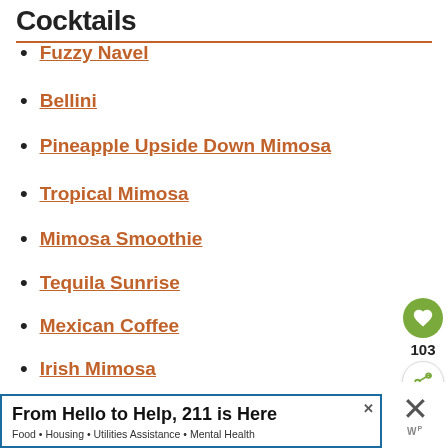Cocktails
Fuzzy Navel
Bellini
Pineapple Upside Down Mimosa
Tropical Mimosa
Mimosa Smoothie
Tequila Sunrise
Mexican Coffee
Irish Mimosa
103
From Hello to Help, 211 is Here
Food • Housing • Utilities Assistance • Mental Health